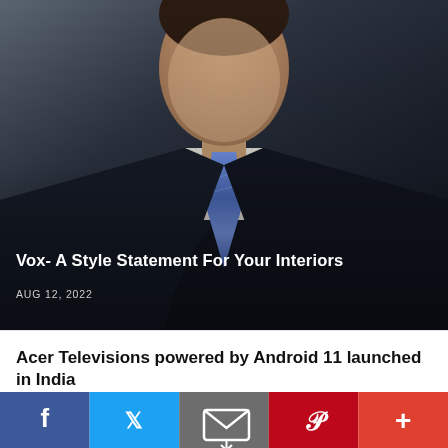[Figure (photo): Professional man in dark navy suit with blue tie against grey background]
Vox- A Style Statement For Your Interiors
AUG 12, 2022
Acer Televisions powered by Android 11 launched in India
[Figure (infographic): Social share bar with Facebook, Twitter, Email, Pinterest, and More buttons]